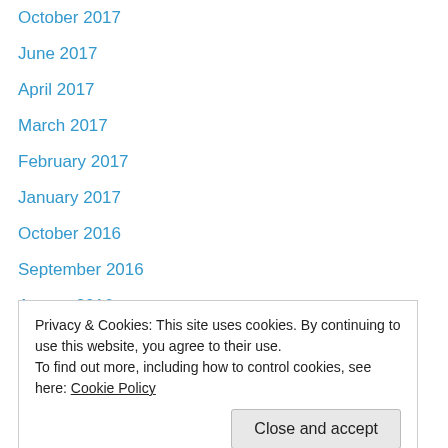October 2017
June 2017
April 2017
March 2017
February 2017
January 2017
October 2016
September 2016
August 2016
July 2016
April 2016
March 2016
January 2016
December 2015 (partial)
Privacy & Cookies: This site uses cookies. By continuing to use this website, you agree to their use.
To find out more, including how to control cookies, see here: Cookie Policy
May 2015